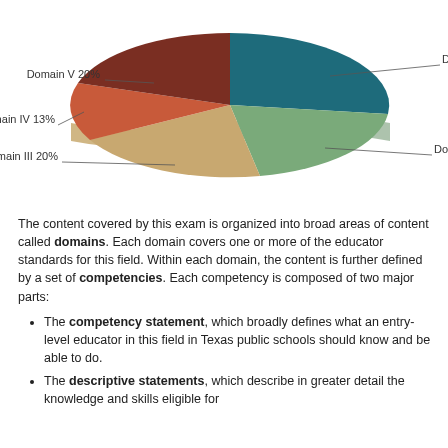[Figure (pie-chart): Approximate Domain Percentages]
The content covered by this exam is organized into broad areas of content called domains. Each domain covers one or more of the educator standards for this field. Within each domain, the content is further defined by a set of competencies. Each competency is composed of two major parts:
The competency statement, which broadly defines what an entry-level educator in this field in Texas public schools should know and be able to do.
The descriptive statements, which describe in greater detail the knowledge and skills eligible for